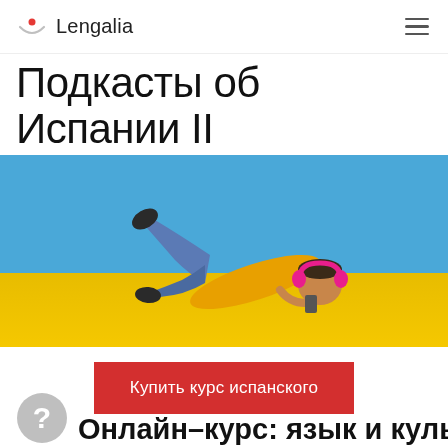Lengalia
Подкасты об Испании II
[Figure (photo): Person lying on a yellow surface against a blue wall, wearing a yellow shirt, jeans, and pink headphones, listening to music with a phone.]
Купить курс испанского
Онлайн–курс: язык и культура